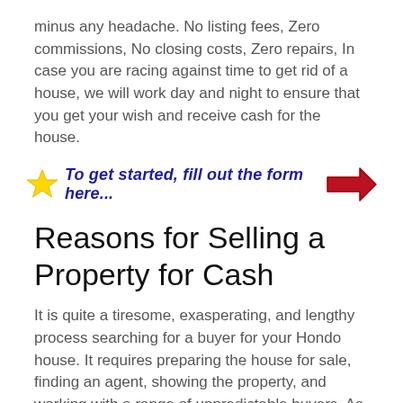minus any headache. No listing fees, Zero commissions, No closing costs, Zero repairs, In case you are racing against time to get rid of a house, we will work day and night to ensure that you get your wish and receive cash for the house.
To get started, fill out the form here...
Reasons for Selling a Property for Cash
It is quite a tiresome, exasperating, and lengthy process searching for a buyer for your Hondo house. It requires preparing the house for sale, finding an agent, showing the property, and working with a range of unpredictable buyers. As expected, many Hondo property owners lean to sell their property to all-cash buyers. We always deliver a